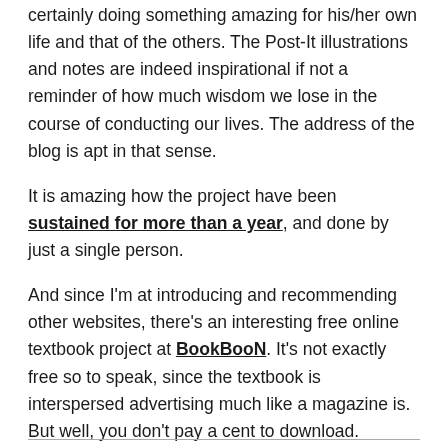certainly doing something amazing for his/her own life and that of the others. The Post-It illustrations and notes are indeed inspirational if not a reminder of how much wisdom we lose in the course of conducting our lives. The address of the blog is apt in that sense.
It is amazing how the project have been sustained for more than a year, and done by just a single person.
And since I'm at introducing and recommending other websites, there's an interesting free online textbook project at BookBooN. It's not exactly free so to speak, since the textbook is interspersed advertising much like a magazine is. But well, you don't pay a cent to download.